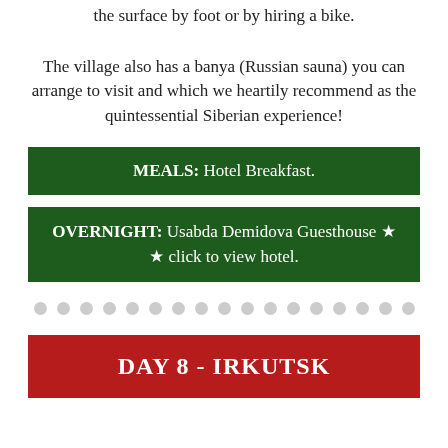the surface by foot or by hiring a bike.
The village also has a banya (Russian sauna) you can arrange to visit and which we heartily recommend as the quintessential Siberian experience!
MEALS: Hotel Breakfast.
OVERNIGHT: Usabda Demidova Guesthouse ★ ★ click to view hotel.
DAY 8 - IRKUTSK